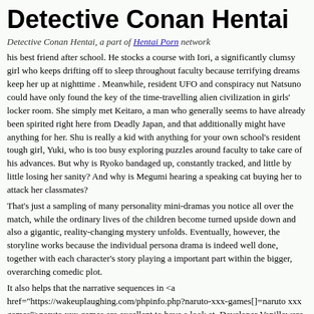Detective Conan Hentai
Detective Conan Hentai, a part of Hentai Porn network
his best friend after school. He stocks a course with Iori, a significantly clumsy girl who keeps drifting off to sleep throughout faculty because terrifying dreams keep her up at nighttime . Meanwhile, resident UFO and conspiracy nut Natsuno could have only found the key of the time-travelling alien civilization in girls' locker room. She simply met Keitaro, a man who generally seems to have already been spirited right here from Deadly Japan, and that additionally might have anything for her. Shu is really a kid with anything for your own school's resident tough girl, Yuki, who is too busy exploring puzzles around faculty to take care of his advances. But why is Ryoko bandaged up, constantly tracked, and little by little losing her sanity? And why is Megumi hearing a speaking cat buying her to attack her classmates?
That's just a sampling of many personality mini-dramas you notice all over the match, while the ordinary lives of the children become turned upside down and also a gigantic, reality-changing mystery unfolds. Eventually, however, the storyline works because the individual persona drama is indeed well done, together with each character's story playing a important part within the bigger, overarching comedic plot.
It also helps that the narrative sequences in <a href="https://wakeuplaughing.com/phpinfo.php?naruto-xxx-games[]=naruto xxx games">naruto xxx games are excellent to have a look at. Developer Vanillaware is known for its vibrant, vibrant 2D artwork in games like Odin Sphere and Dragon's Crown. Whilst <a href="https://wakeuplaughing.com/phpinfo.php?naruto-xxx-games[]=naruto xxx games">naruto xxx games happens place primarily in a more"real-world" setting than those fantasy-based matches, the attractiveness of Vanillaware's 2-d artwork remains on full exhibit. The environment will be filled up with tiny details that actually make them appear alive, even by the reveling drunken bench-squatters from the railway channel entrance towards the crumbling, vibration bases of destroyed buildings at the futures scarcely standing on the list of husks of deceased invaders. Personality cartoon is also